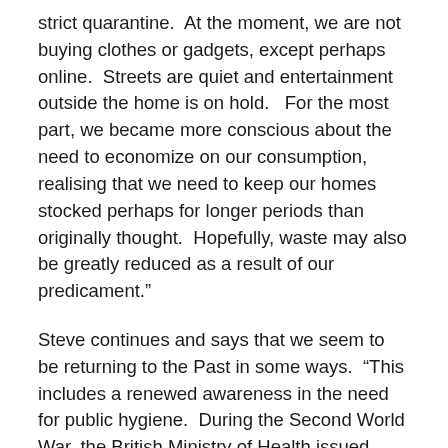strict quarantine.  At the moment, we are not buying clothes or gadgets, except perhaps online.  Streets are quiet and entertainment outside the home is on hold.   For the most part, we became more conscious about the need to economize on our consumption, realising that we need to keep our homes stocked perhaps for longer periods than originally thought.  Hopefully, waste may also be greatly reduced as a result of our predicament."
Steve continues and says that we seem to be returning to the Past in some ways.  “This includes a renewed awareness in the need for public hygiene.  During the Second World War, the British Ministry of Health issued posters with the catchy phrase, Coughs and Sneezes spread Diseases. This education was particularly important since people would often be huddled in bomb-shelters for extended periods.  Evidently, this is still a good axiom for us to keep in mind too, now that we face